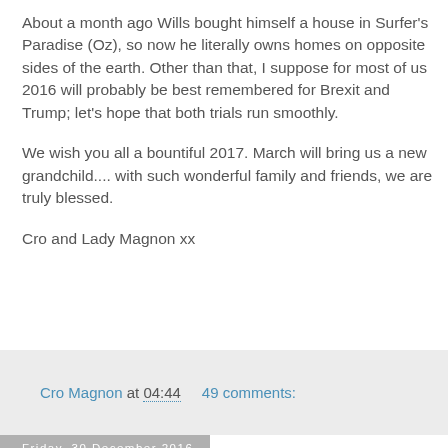About a month ago Wills bought himself a house in Surfer's Paradise (Oz), so now he literally owns homes on opposite sides of the earth. Other than that, I suppose for most of us 2016 will probably be best remembered for Brexit and Trump; let's hope that both trials run smoothly.

We wish you all a bountiful 2017. March will bring us a new grandchild.... with such wonderful family and friends, we are truly blessed.

Cro and Lady Magnon xx
Cro Magnon at 04:44    49 comments:
Friday, 30 December 2016
Barn work; where does it end?